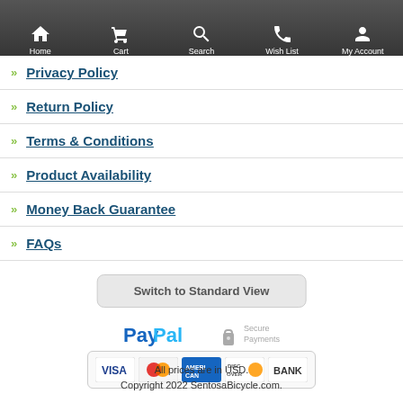[Figure (screenshot): Mobile website navigation bar with Home, Cart, Search, Wish List, My Account icons]
Privacy Policy
Return Policy
Terms & Conditions
Product Availability
Money Back Guarantee
FAQs
Switch to Standard View
[Figure (logo): PayPal Secure Payments logo]
[Figure (illustration): Payment card logos: VISA, MasterCard, American Express, Discover, BANK]
All prices are in USD.
Copyright 2022 SentosaBicycle.com.